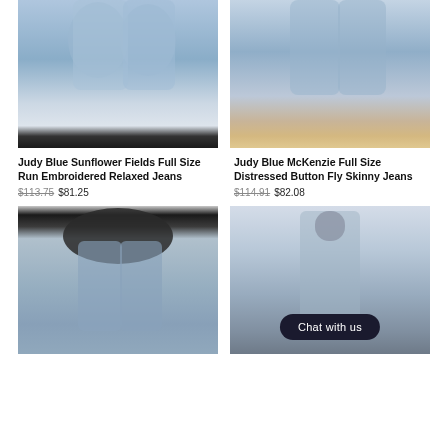[Figure (photo): Woman's legs wearing light blue skinny/relaxed jeans with black ankle boots against a dark and white background]
[Figure (photo): Woman's legs wearing light blue distressed skinny jeans with tan sandals against a white background]
Judy Blue Sunflower Fields Full Size Run Embroidered Relaxed Jeans
Judy Blue McKenzie Full Size Distressed Button Fly Skinny Jeans
$113.75 $81.25
$114.91 $82.08
[Figure (photo): Woman wearing colorful leopard print top with distressed light blue skinny jeans]
[Figure (photo): Denim vest on a mannequin/hanger with a Chat with us button overlay]